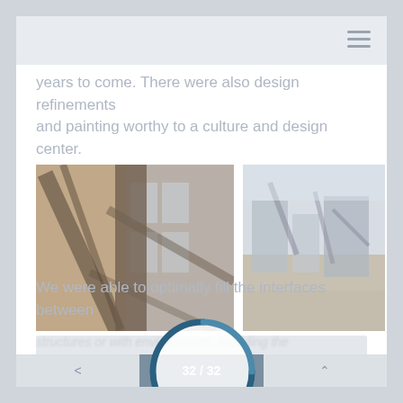years to come. There were also design refinements and painting worthy to a culture and design center.
[Figure (photo): Two architectural photographs side by side with a circular progress/loading indicator overlaid at the center. Left photo shows a brick and steel industrial building facade with large windows and diagonal steel beams. Right photo shows a modern industrial complex exterior with steel structures and landscaping.]
We were able to optimally fill the interfaces between
< 32 / 32 ^